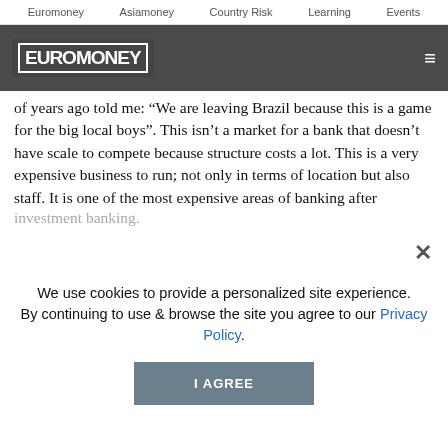Euromoney   Asiamoney   Country Risk   Learning   Events
[Figure (logo): Euromoney logo in white bold block letters on dark grey header bar with hamburger menu icon on right]
of years ago told me: “We are leaving Brazil because this is a game for the big local boys”. This isn’t a market for a bank that doesn’t have scale to compete because structure costs a lot. This is a very expensive business to run; not only in terms of location but also staff. It is one of the most expensive areas of banking after investment banking.
We use cookies to provide a personalized site experience.
By continuing to use & browse the site you agree to our Privacy Policy.
I AGREE